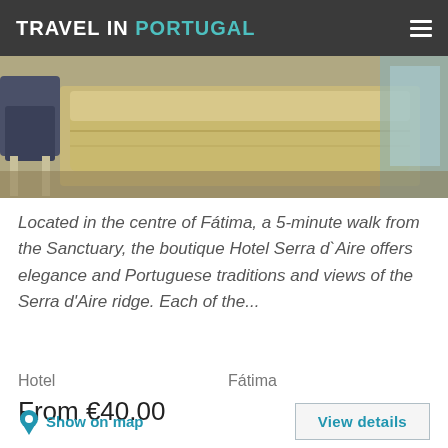TRAVEL IN PORTUGAL
[Figure (photo): Hotel room interior showing a bed with olive/golden bedding and chairs, shot from above at an angle]
Located in the centre of Fátima, a 5-minute walk from the Sanctuary, the boutique Hotel Serra d`Aire offers elegance and Portuguese traditions and views of the Serra d'Aire ridge. Each of the...
Hotel    Fátima
From €40.00
Show on map
View details